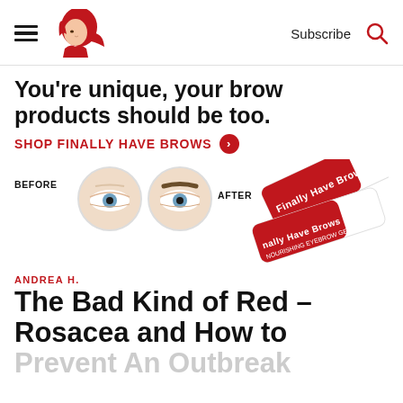Subscribe
[Figure (illustration): Beauty/lifestyle website header with hamburger menu icon, red-haired woman logo, Subscribe text, and search icon]
[Figure (infographic): Advertisement banner: 'You're unique, your brow products should be too. SHOP FINALLY HAVE BROWS →' with before/after eye photos and Finally Have Brows product tubes]
ANDREA H.
The Bad Kind of Red – Rosacea and How to Prevent An Outbreak